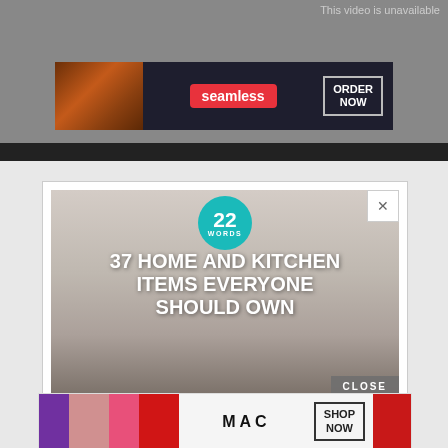This video is unavailable
[Figure (screenshot): Seamless food delivery advertisement banner with pizza image on left, 'seamless' red logo in center, and 'ORDER NOW' button on right, on dark background]
[Figure (screenshot): Advertisement overlay showing '22 WORDS' teal badge and text '37 HOME AND KITCHEN ITEMS EVERYONE SHOULD OWN' over blurred kitchen background with person using kitchen tool, with CLOSE button]
[Figure (screenshot): MAC cosmetics advertisement banner showing colorful lipsticks, MAC logo, and SHOP NOW button]